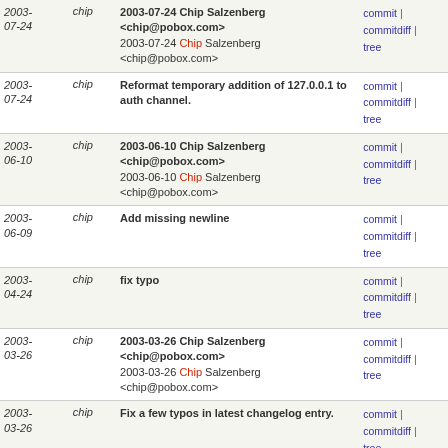| Date | Author | Message | Links |
| --- | --- | --- | --- |
| 2003-07-24 | chip | 2003-07-24 Chip Salzenberg <chip@pobox.com>
2003-07-24 Chip Salzenberg <chip@pobox.com> | commit | commitdiff | tree |
| 2003-07-24 | chip | Reformat temporary addition of 127.0.0.1 to auth channel. | commit | commitdiff | tree |
| 2003-06-10 | chip | 2003-06-10 Chip Salzenberg <chip@pobox.com>
2003-06-10 Chip Salzenberg <chip@pobox.com> | commit | commitdiff | tree |
| 2003-06-09 | chip | Add missing newline | commit | commitdiff | tree |
| 2003-04-24 | chip | fix typo | commit | commitdiff | tree |
| 2003-03-26 | chip | 2003-03-26 Chip Salzenberg <chip@pobox.com>
2003-03-26 Chip Salzenberg <chip@pobox.com> | commit | commitdiff | tree |
| 2003-03-26 | chip | Fix a few typos in latest changelog entry. | commit | commitdiff | tree |
| 2003-02-13 | chip | 2003-02-12 Chip Salzenberg <chip@pobox.com>
2003-02-12 Chip Salzenberg <chip@pobox.com> | commit | commitdiff | tree |
| 2002-11-28 | chip | 2002-11-27 Chip Salzenberg <chip@pobox.com>
2002-11-27 Chip Salzenberg <chip@pobox.com> | commit | commitdiff | tree |